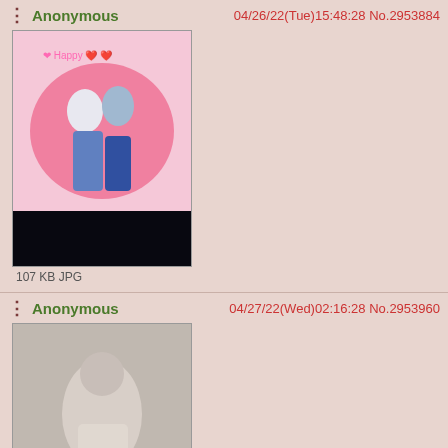Anonymous  04/26/22(Tue)15:48:28 No.2953884
[Figure (photo): Anime illustration thumbnail, 107 KB JPG]
107 KB JPG
Anonymous  04/27/22(Wed)02:16:28 No.2953960
[Figure (photo): Photo thumbnail, 962 KB PNG]
962 KB PNG
>>2958215 #
Anonymous  05/01/22(Sun)14:54:16 No.2954578
[Figure (illustration): Dark anime character illustration thumbnail]